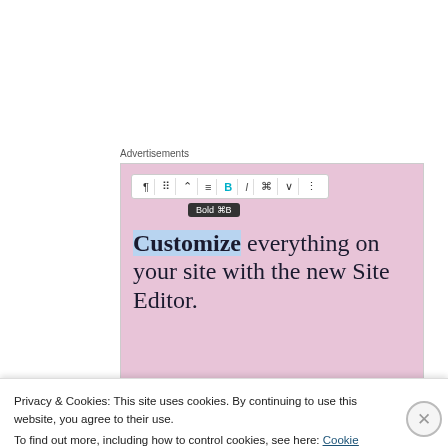Advertisements
[Figure (screenshot): WordPress Site Editor advertisement showing a toolbar with Bold button active and tooltip 'Bold ⌘B', with large text on pink background: 'Customize everything on your site with the new Site Editor.']
Toy Museum
Hours (Sets & Suns only)
Privacy & Cookies: This site uses cookies. By continuing to use this website, you agree to their use.
To find out more, including how to control cookies, see here: Cookie Policy
Close and accept